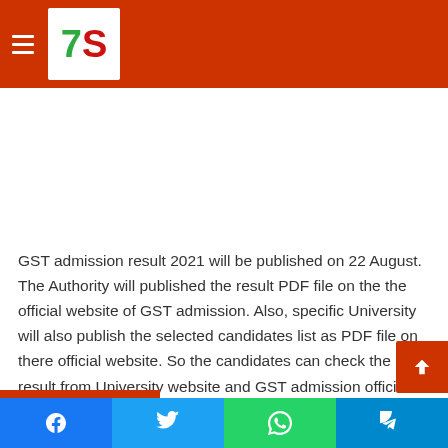[Figure (logo): 7S logo on red header background with hamburger menu icon]
GST admission result 2021 will be published on 22 August. The Authority will published the result PDF file on the the official website of GST admission. Also, specific University will also publish the selected candidates list as PDF file on there official website. So the candidates can check the result from University website and GST admission official website.
[Figure (infographic): Social share bar at bottom with Facebook, Twitter, WhatsApp, Telegram icons]